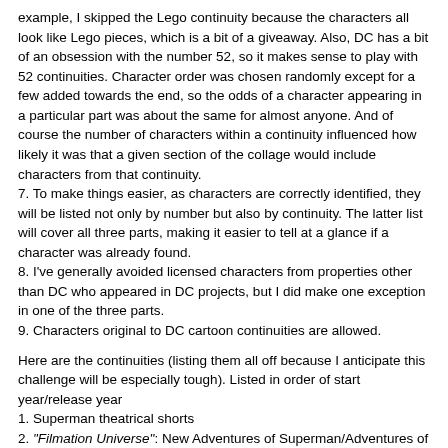example, I skipped the Lego continuity because the characters all look like Lego pieces, which is a bit of a giveaway. Also, DC has a bit of an obsession with the number 52, so it makes sense to play with 52 continuities. Character order was chosen randomly except for a few added towards the end, so the odds of a character appearing in a particular part was about the same for almost anyone. And of course the number of characters within a continuity influenced how likely it was that a given section of the collage would include characters from that continuity.
7. To make things easier, as characters are correctly identified, they will be listed not only by number but also by continuity. The latter list will cover all three parts, making it easier to tell at a glance if a character was already found.
8. I've generally avoided licensed characters from properties other than DC who appeared in DC projects, but I did make one exception in one of the three parts.
9. Characters original to DC cartoon continuities are allowed.
Here are the continuities (listing them all off because I anticipate this challenge will be especially tough). Listed in order of start year/release year
1. Superman theatrical shorts
2. "Filmation Universe": New Adventures of Superman/Adventures of Superboy/Aquaman/Adventures of Batman/other shorts from the Aquaman/Superman Hour of Adventure
3. New Scooby-Doo Movies/one episode of Batman: Brave and the Bold
4. Brady Kids
5. Super Friends: Super Friends/All New Superfriends Hour, Challenge of the Superfriends/World's Greatest Superfriends, Super Friends: The Lost Episodes/Super Friends: The Legendary Super Powers Team/Super Powers Team: Galactic Guardians
6. New Adventures of Batman